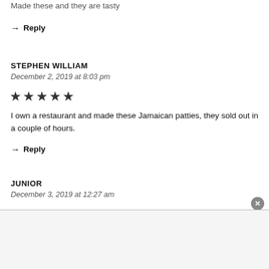Made these and they are tasty
→ Reply
STEPHEN WILLIAM
December 2, 2019 at 8:03 pm
[Figure (other): Five filled star rating icons]
I own a restaurant and made these Jamaican patties, they sold out in a couple of hours.
→ Reply
JUNIOR
December 3, 2019 at 12:27 am
[Figure (other): Five filled star rating icons]